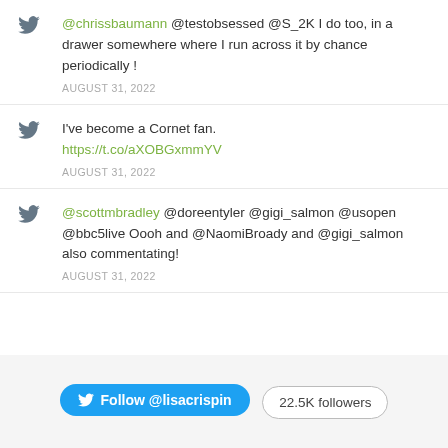@chrissbaumann @testobsessed @S_2K I do too, in a drawer somewhere where I run across it by chance periodically !
AUGUST 31, 2022
I've become a Cornet fan.
https://t.co/aXOBGxmmYV
AUGUST 31, 2022
@scottmbradley @doreentyler @gigi_salmon @usopen @bbc5live Oooh and @NaomiBroady and @gigi_salmon also commentating!
AUGUST 31, 2022
Follow @lisacrispin  22.5K followers